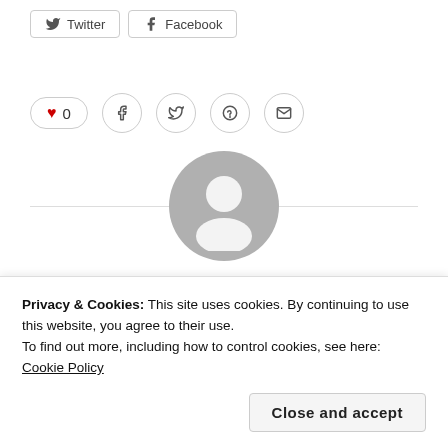[Figure (screenshot): Social share buttons for Twitter and Facebook]
[Figure (screenshot): Social reaction/share icons: heart (0), Facebook, Twitter, Pinterest, Email]
[Figure (illustration): Default grey user avatar circle with person silhouette]
AUTHOR
Atl Briefs
Privacy & Cookies: This site uses cookies. By continuing to use this website, you agree to their use.
To find out more, including how to control cookies, see here: Cookie Policy
Close and accept